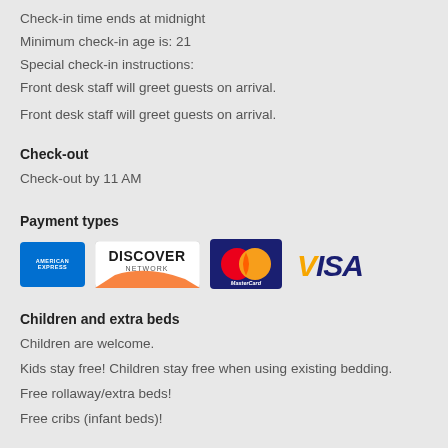Check-in time ends at midnight
Minimum check-in age is: 21
Special check-in instructions:
Front desk staff will greet guests on arrival.
Front desk staff will greet guests on arrival.
Check-out
Check-out by 11 AM
Payment types
[Figure (logo): Payment card logos: American Express, Discover Network, MasterCard, Visa]
Children and extra beds
Children are welcome.
Kids stay free! Children stay free when using existing bedding.
Free rollaway/extra beds!
Free cribs (infant beds)!